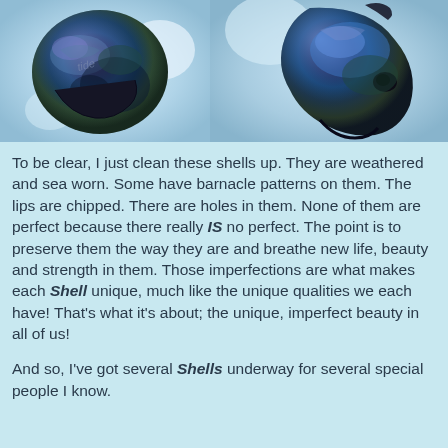[Figure (photo): Two iridescent dark blue-green sea shells on a light blue background. Left shell is rounder, right shell is more irregular shaped.]
To be clear, I just clean these shells up. They are weathered and sea worn. Some have barnacle patterns on them. The lips are chipped. There are holes in them. None of them are perfect because there really IS no perfect. The point is to preserve them the way they are and breathe new life, beauty and strength in them. Those imperfections are what makes each Shell unique, much like the unique qualities we each have! That’s what it’s about; the unique, imperfect beauty in all of us!
And so, I’ve got several Shells underway for several special people I know.